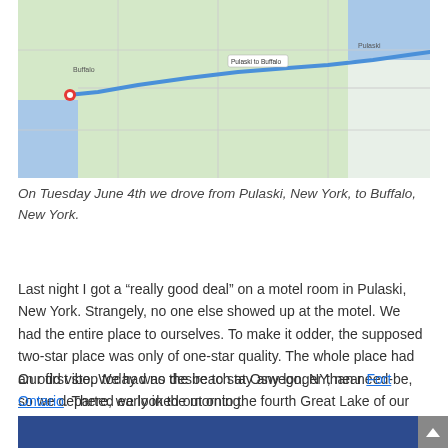[Figure (map): Google Maps screenshot showing a driving route from Pulaski, New York to Buffalo, New York, with a blue route line traveling westward across upstate New York. A red location pin marks Buffalo on the left side near Lake Erie.]
On Tuesday June 4th we drove from Pulaski, New York, to Buffalo, New York.
Last night I got a “really good deal” on a motel room in Pulaski, New York. Strangely, no one else showed up at the motel. We had the entire place to ourselves. To make it odder, the supposed two-star place was only of one-star quality. The whole place had an odd vibe. We had no desire to stay any longer than need-be, so we departed early in the morning.
Our first stop today was the beach at Oswego, NY, near Fort Ontario. There, we looked out onto the fourth Great Lake of our trip: Lake Ontario. The warm temperatures of the past few days turned to a bone chilling 67 degrees …  Brrr. We almost had to put on jackets!